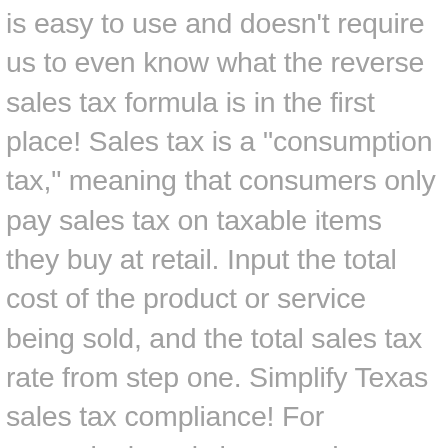is easy to use and doesn't require us to even know what the reverse sales tax formula is in the first place! Sales tax is a "consumption tax," meaning that consumers only pay sales tax on taxable items they buy at retail. Input the total cost of the product or service being sold, and the total sales tax rate from step one. Simplify Texas sales tax compliance! For example, here is how much you would pay inclusive of sales tax on a $200.00 purchase in the cities with the highest and lowest sales taxes in Texas: You can use our Texas sales tax calculator to determine the applicable sales tax for any location in Texas by entering the zip code in which the purchase takes place. Just enter the five-digit zip code of the location in which the transaction takes place, and we will instantly calculate sales tax due to Texas, local counties, cities, and special taxation districts. Calculating how much sales tax you should remit to the state of Oklahoma is easy with TaxJar's Oklahoma sales tax report. Go to Settings → General and set your address based on your nexus. Automate your business's sales